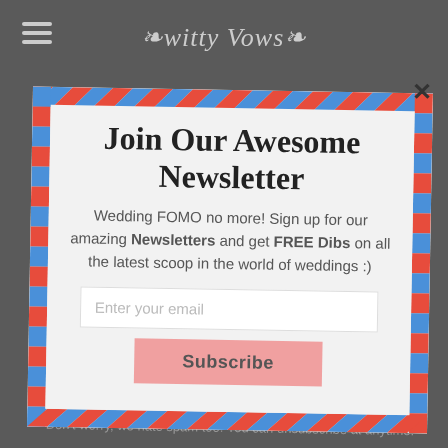witty Vows
Join Our Awesome Newsletter
Wedding FOMO no more! Sign up for our amazing Newsletters and get FREE Dibs on all the latest scoop in the world of weddings :)
Enter your email
Subscribe
Don't worry, we hate spam too! You can unsubscribe at anytime.